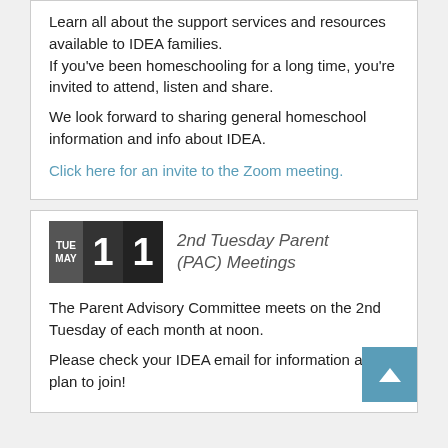Learn all about the support services and resources available to IDEA families.
If you've been homeschooling for a long time, you're invited to attend, listen and share.
We look forward to sharing general homeschool information and info about IDEA.
Click here for an invite to the Zoom meeting.
[Figure (other): Calendar icon showing TUE MAY 1 1]
2nd Tuesday Parent (PAC) Meetings
The Parent Advisory Committee meets on the 2nd Tuesday of each month at noon.
Please check your IDEA email for information and plan to join!